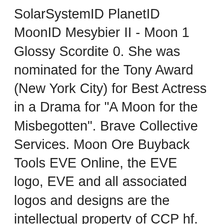SolarSystemID PlanetID MoonID Mesybier II - Moon 1 Glossy Scordite 0. She was nominated for the Tony Award (New York City) for Best Actress in a Drama for "A Moon for the Misbegotten". Brave Collective Services. Moon Ore Buyback Tools EVE Online, the EVE logo, EVE and all associated logos and designs are the intellectual property of CCP hf. Unless something has changed a whole lot in the 2 1/2 weeks since I mined moon rock. Over the years, they have added tech II, which is meta 5, and can be manufactured by players from materials that come from moon mining. Ore/Ice Mining. Politics 29 Each DT, all moon goo types that were depleted the previous day are redistributed amongst all mine-able moons. Type : Buy Sell Price :